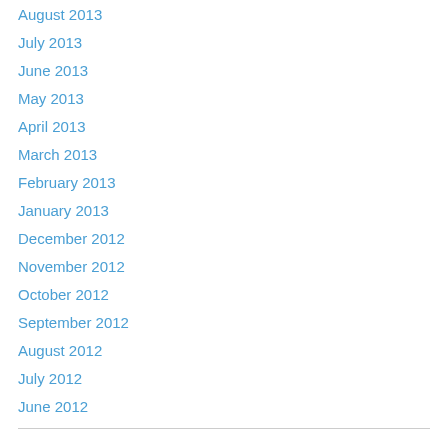August 2013
July 2013
June 2013
May 2013
April 2013
March 2013
February 2013
January 2013
December 2012
November 2012
October 2012
September 2012
August 2012
July 2012
June 2012
Categories
In The News